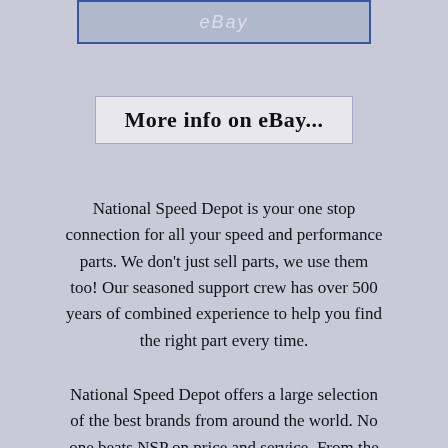[Figure (screenshot): Partial eBay listing image showing 'eBay' text watermark on a light gray/blue background with a dark blue border]
[Figure (screenshot): Button reading 'More info on eBay...' in bold black serif font on a light gray background with a thin border]
National Speed Depot is your one stop connection for all your speed and performance parts. We don't just sell parts, we use them too! Our seasoned support crew has over 500 years of combined experience to help you find the right part every time.
National Speed Depot offers a large selection of the best brands from around the world. No one beats NSP on price and service. From the track to the street your always a winner when your with National